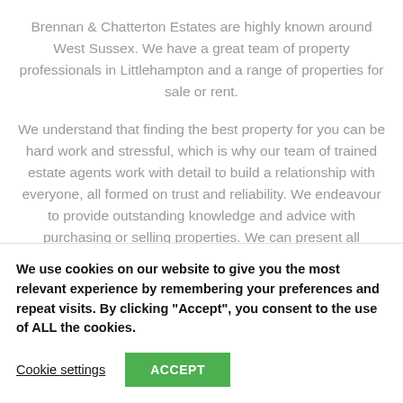Brennan & Chatterton Estates are highly known around West Sussex. We have a great team of property professionals in Littlehampton and a range of properties for sale or rent.
We understand that finding the best property for you can be hard work and stressful, which is why our team of trained estate agents work with detail to build a relationship with everyone, all formed on trust and reliability. We endeavour to provide outstanding knowledge and advice with purchasing or selling properties. We can present all expertise to our client's
We use cookies on our website to give you the most relevant experience by remembering your preferences and repeat visits. By clicking “Accept”, you consent to the use of ALL the cookies.
Cookie settings
ACCEPT